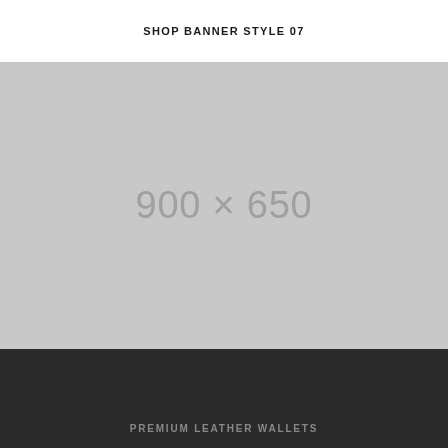SHOP BANNER STYLE 07
[Figure (other): Placeholder image area showing dimensions 900 × 650 on a light grey background]
PREMIUM LEATHER WALLETS